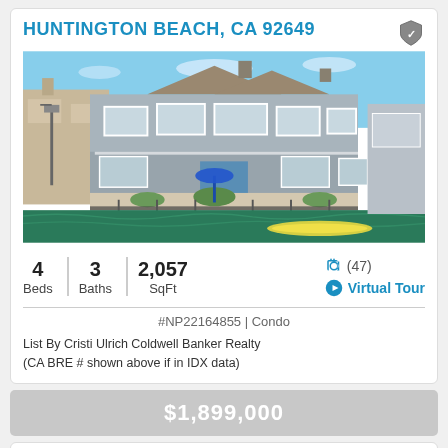HUNTINGTON BEACH, CA 92649
[Figure (photo): Exterior photo of a multi-unit beachfront/waterfront condo in Huntington Beach, CA. Two-story gray-sided home with white trim, balconies, large windows, patio furniture, and a waterway in the foreground with a yellow kayak.]
4 Beds  |  3 Baths  |  2,057 SqFt
📷 (47)  ▶ Virtual Tour
#NP22164855 | Condo
List By Cristi Ulrich Coldwell Banker Realty
(CA BRE # shown above if in IDX data)
$1,899,000
16932 EDGEWATER LANE